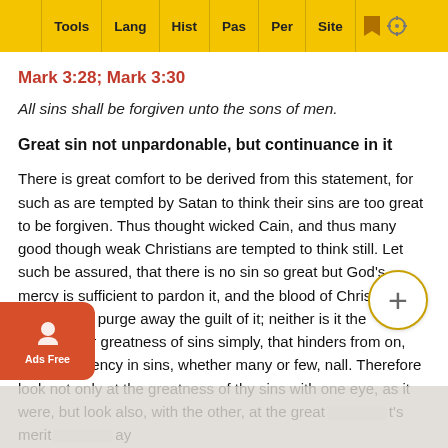Tools | Lang | Hist | Pas | Per | Site
Mark 3:28; Mark 3:30
All sins shall be forgiven unto the sons of men.
Great sin not unpardonable, but continuance in it
There is great comfort to be derived from this statement, for such as are tempted by Satan to think their sins are too great to be forgiven. Thus thought wicked Cain, and thus many good though weak Christians are tempted to think still. Let such be assured, that there is no sin so great but God’s mercy is sufficient to pardon it, and the blood of Christ sufficient to purge away the guilt of it; neither is it the multitude or greatness of sins simply, that hinders from pardon, but impenitency in sins, whether many or few, great or small. Therefore look not only at the greatness of thy sins with one eye, as it were, but look also, with the other, at the greatness of Christ’s merit and may